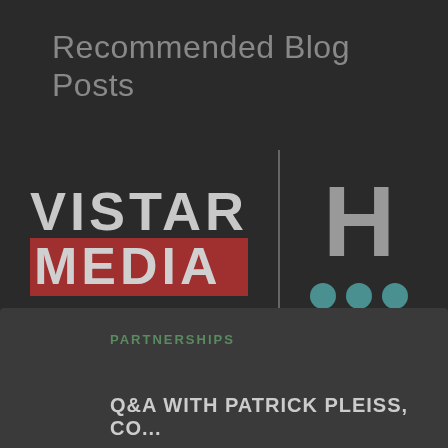Recommended Blog Posts
[Figure (logo): Vistar Media logo combined with an H logo separated by a vertical divider line. Vistar Media has 'VISTAR' in grey and 'MEDIA' in white on a red background. The H logo shows a large grey letter H with three teal dots below it.]
PARTNERSHIPS
Q&A WITH PATRICK PLEISS, CO...